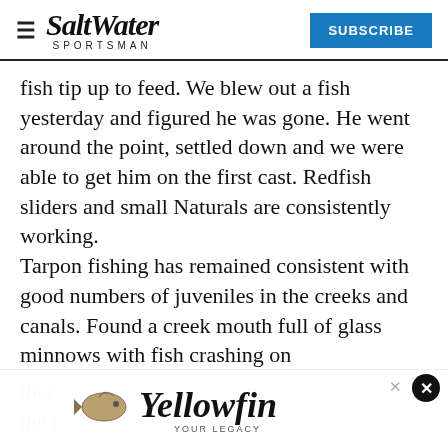Salt Water Sportsman — SUBSCRIBE
fish tip up to feed. We blew out a fish yesterday and figured he was gone. He went around the point, settled down and we were able to get him on the first cast. Redfish sliders and small Naturals are consistently working.
Tarpon fishing has remained consistent with good numbers of juveniles in the creeks and canals. Found a creek mouth full of glass minnows with fish crashing on ther... the...
[Figure (logo): Yellowfin YOUR LEGACY advertisement overlay with fish illustration and script logo]